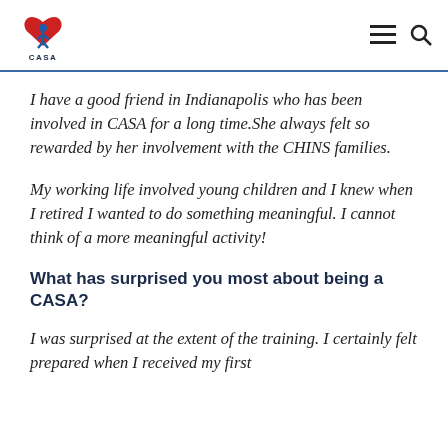CASA
I have a good friend in Indianapolis who has been involved in CASA for a long time.She always felt so rewarded by her involvement with the CHINS families.
My working life involved young children and I knew when I retired I wanted to do something meaningful. I cannot think of a more meaningful activity!
What has surprised you most about being a CASA?
I was surprised at the extent of the training. I certainly felt prepared when I received my first